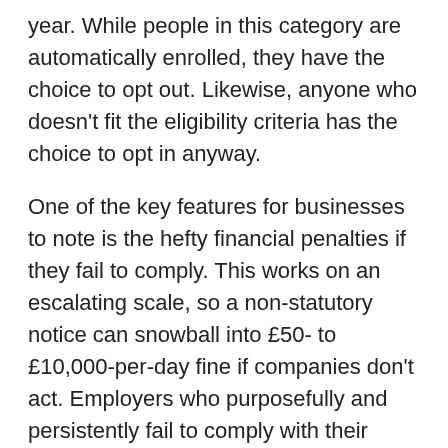year. While people in this category are automatically enrolled, they have the choice to opt out. Likewise, anyone who doesn't fit the eligibility criteria has the choice to opt in anyway.
One of the key features for businesses to note is the hefty financial penalties if they fail to comply. This works on an escalating scale, so a non-statutory notice can snowball into £50- to £10,000-per-day fine if companies don't act. Employers who purposefully and persistently fail to comply with their duties will also face criminal conviction. Business owners will know too well how unnecessary expenses can floor a company's finances, so it is critical for employers to colour between the lines.
As low as the eligibility requirements are, there...